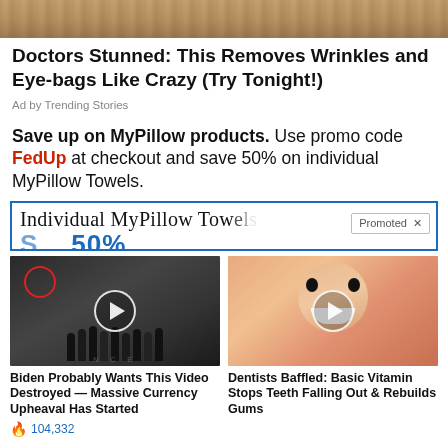[Figure (photo): Close-up image of skin/face texture at top of page]
Doctors Stunned: This Removes Wrinkles and Eye-bags Like Crazy (Try Tonight!)
Ad by Trending Stories
Save up to on MyPillow products. Use promo code FedUp at checkout and save 50% on individual MyPillow Towels.
[Figure (screenshot): Ad banner for Individual MyPillow Towels with blue border, showing 50% off promotion, with a Promoted badge overlay]
[Figure (photo): Video thumbnail showing group of people in suits with a red circle highlight and play button overlay]
[Figure (photo): Video thumbnail showing a man with wide eyes and open mouth smiling, with play button overlay]
Biden Probably Wants This Video Destroyed — Massive Currency Upheaval Has Started
Dentists Baffled: Basic Vitamin Stops Teeth Falling Out & Rebuilds Gums
104,332